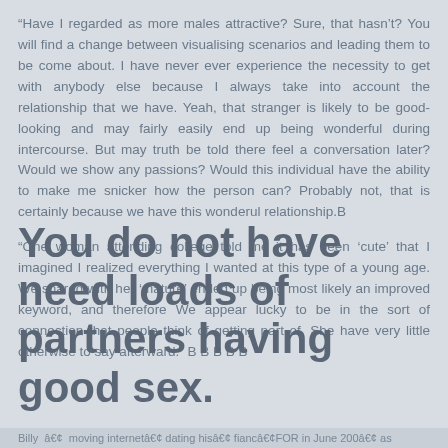“Have I regarded as more males attractive? Sure, that hasn’t? You will find a change between visualising scenarios and leading them to be come about. I have never ever experience the necessity to get with anybody else because I always take into account the relationship that we have. Yeah, that stranger is likely to be good-looking and may fairly easily end up being wonderful during intercourse. But may truth be told there feel a conversation later? Would we show any passions? Would this individual have the ability to make me snicker how the person can? Probably not, that is certainly because we have this wonderul relationship.B
“One woman attending college told me it has been ‘cute’ that I imagined I realized everything I wanted at this type of a young age. We shared with her ‘mature’ ended up being most likely an improved keyword, and therefore We appear lucky to be in the sort of connection that people think of getting part of. She have very little otherwise to say afterward.” B B B B B
You do not have need loads of partners having good sex.
Billy   moving internet dating his fianc FOR in June 200  as